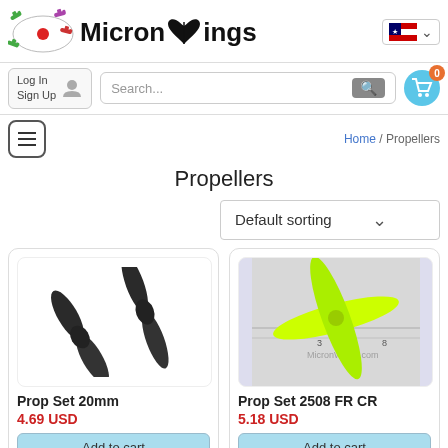[Figure (logo): MicronWings logo with small airplanes and wings icon]
[Figure (screenshot): Navigation bar with Log In / Sign Up, Search bar, and shopping cart (0 items)]
Home / Propellers
Propellers
Default sorting
[Figure (photo): Two black plastic propellers - Prop Set 20mm]
Prop Set 20mm
4.69 USD
Add to cart
[Figure (photo): Two yellow-green plastic propellers on ruler background - Prop Set 2508 FR CR]
Prop Set 2508 FR CR
5.18 USD
Add to cart